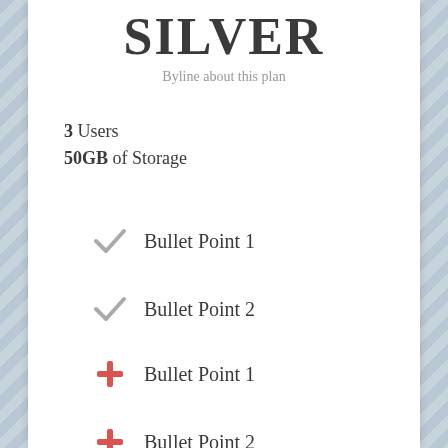SILVER
Byline about this plan
3 Users
50GB of Storage
Bullet Point 1
Bullet Point 2
Bullet Point 1
Bullet Point 2